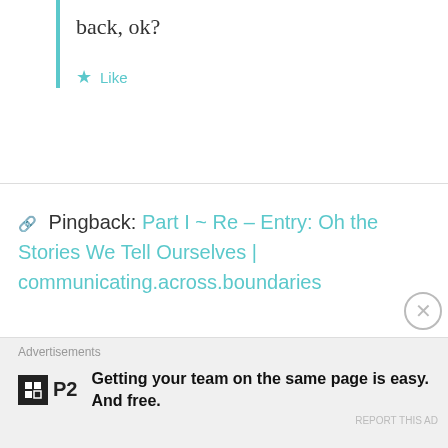back, ok?
★ Like
🔗 Pingback: Part I ~ Re – Entry: Oh the Stories We Tell Ourselves | communicating.across.boundaries
lauradcampbell
April 8, 2013 at 8:55 pm
Thank you for this post. It is something I have been pondering awhile myself — ATCK's raising
Advertisements
Getting your team on the same page is easy. And free.